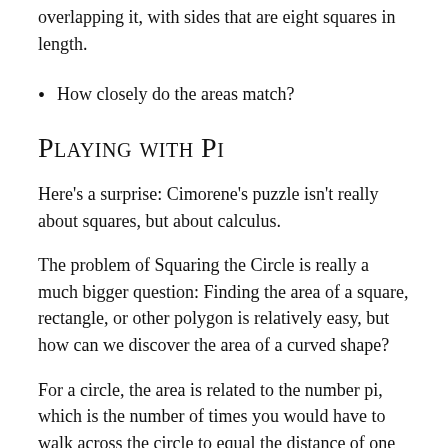overlapping it, with sides that are eight squares in length.
How closely do the areas match?
Playing with Pi
Here's a surprise: Cimorene's puzzle isn't really about squares, but about calculus.
The problem of Squaring the Circle is really a much bigger question: Finding the area of a square, rectangle, or other polygon is relatively easy, but how can we discover the area of a curved shape?
For a circle, the area is related to the number pi, which is the number of times you would have to walk across the circle to equal the distance of one time walking around it.